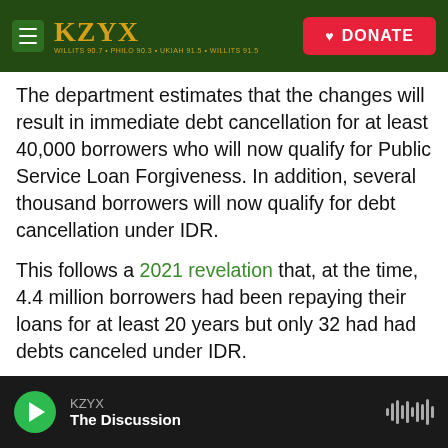KZYX — DONATE
The department estimates that the changes will result in immediate debt cancellation for at least 40,000 borrowers who will now qualify for Public Service Loan Forgiveness. In addition, several thousand borrowers will now qualify for debt cancellation under IDR.
This follows a 2021 revelation that, at the time, 4.4 million borrowers had been repaying their loans for at least 20 years but only 32 had had debts canceled under IDR.
As a result of Tuesday's news, millions more borrowers will also receive months and, in some…
KZYX — The Discussion